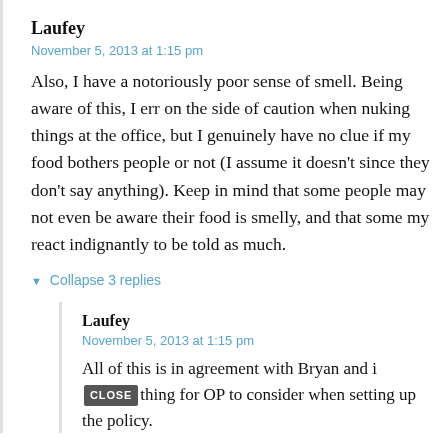Laufey
November 5, 2013 at 1:15 pm
Also, I have a notoriously poor sense of smell. Being aware of this, I err on the side of caution when nuking things at the office, but I genuinely have no clue if my food bothers people or not (I assume it doesn't since they don't say anything). Keep in mind that some people may not even be aware their food is smelly, and that some my react indignantly to be told as much.
▼ Collapse 3 replies
Laufey
November 5, 2013 at 1:15 pm
All of this is in agreement with Bryan and i [CLOSE] thing for OP to consider when setting up the policy.